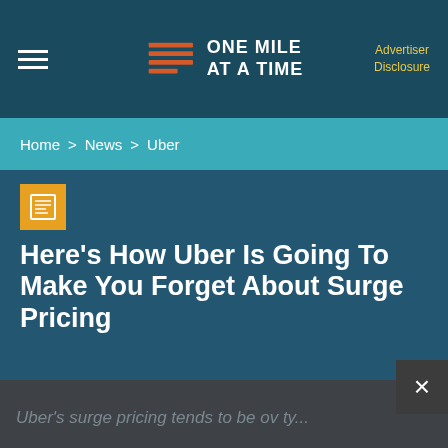ONE MILE AT A TIME | Advertiser Disclosure
Home > News > Uber
Here's How Uber Is Going To Make You Forget About Surge Pricing
Ben Schlappig | June 24, 2016 | 23
Uber's surge pricing tends to be over ty...